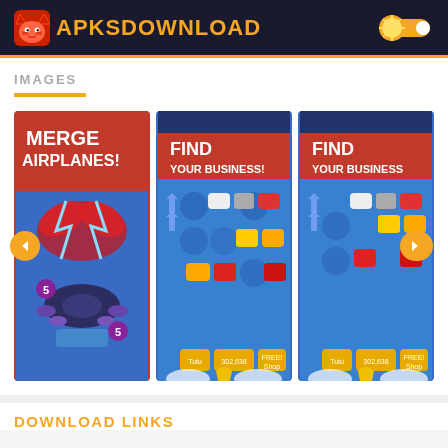APKSDOWNLOAD
IMAGES
[Figure (screenshot): Screenshot 1: Game promotional image showing 'MERGE AIRPLANES!' text with airplane merger game art on red background, dark airplane at bottom]
[Figure (screenshot): Screenshot 2: Game screenshot showing 'FIND YOUR BUSINESS!' text on red banner with blue game board showing various airplane icons]
[Figure (screenshot): Screenshot 3: Game screenshot showing 'FIND YOUR BUSINESS!' text on red banner with blue game board, partially cut off on right]
DOWNLOAD LINKS